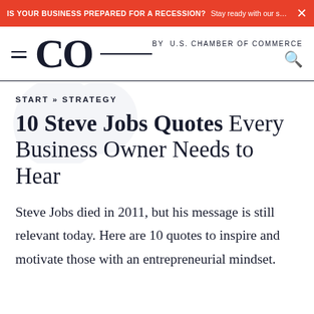IS YOUR BUSINESS PREPARED FOR A RECESSION? Stay ready with our small busin... ×
CO by U.S. CHAMBER OF COMMERCE
START » STRATEGY
10 Steve Jobs Quotes Every Business Owner Needs to Hear
Steve Jobs died in 2011, but his message is still relevant today. Here are 10 quotes to inspire and motivate those with an entrepreneurial mindset.